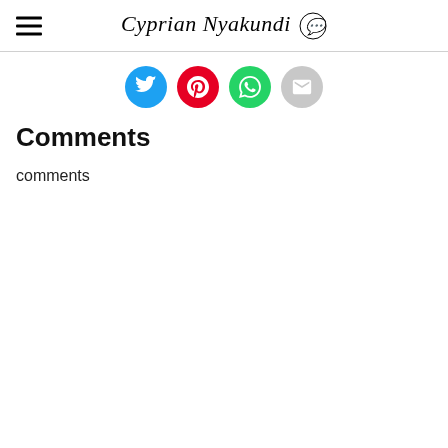Cyprian Nyakundi
[Figure (infographic): Row of four social share buttons: Twitter (blue), Pinterest (red), WhatsApp (green), Email (grey)]
Comments
comments